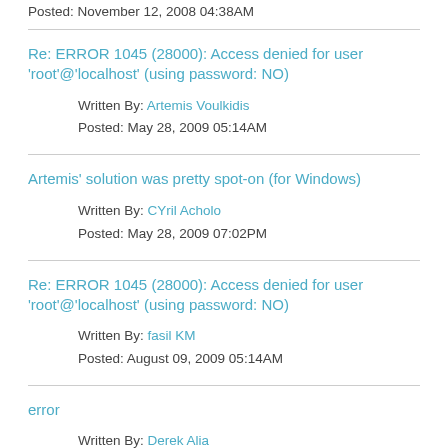Posted: November 12, 2008 04:38AM
Re: ERROR 1045 (28000): Access denied for user 'root'@'localhost' (using password: NO)
Written By: Artemis Voulkidis
Posted: May 28, 2009 05:14AM
Artemis' solution was pretty spot-on (for Windows)
Written By: CYril Acholo
Posted: May 28, 2009 07:02PM
Re: ERROR 1045 (28000): Access denied for user 'root'@'localhost' (using password: NO)
Written By: fasil KM
Posted: August 09, 2009 05:14AM
error
Written By: Derek Alia
Posted: August 27, 2009 12:22AM
Re: ERROR 1045 (28000): Access denied for user 'root'@'localhost' (using password: NO)